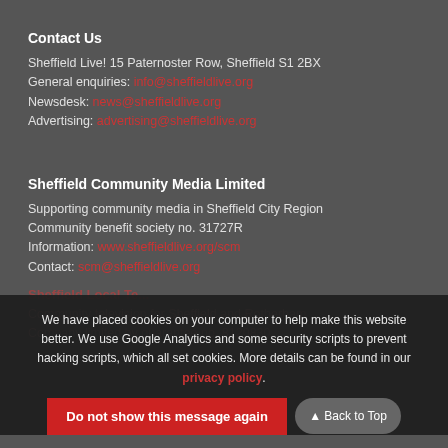Contact Us
Sheffield Live! 15 Paternoster Row, Sheffield S1 2BX
General enquiries: info@sheffieldlive.org
Newsdesk: news@sheffieldlive.org
Advertising: advertising@sheffieldlive.org
Sheffield Community Media Limited
Supporting community media in Sheffield City Region
Community benefit society no. 31727R
Information: www.sheffieldlive.org/scm
Contact: scm@sheffieldlive.org
Sheffield Local T...
Community television for Sheffield and Rotherham
Company limited by guarantee no. 8120830
We have placed cookies on your computer to help make this website better. We use Google Analytics and some security scripts to prevent hacking scripts, which all set cookies. More details can be found in our privacy policy.
Do not show this message again
Back to Top